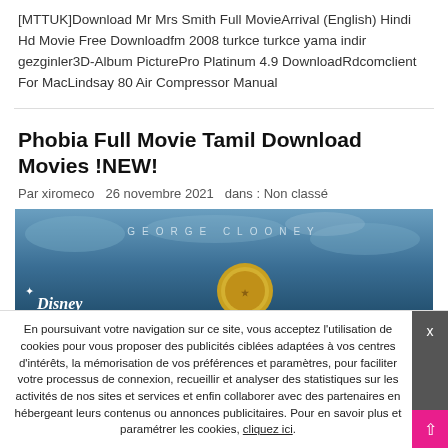[MTTUK]Download Mr Mrs Smith Full MovieArrival (English) Hindi Hd Movie Free Downloadfm 2008 turkce turkce yama indir gezginler3D-Album PicturePro Platinum 4.9 DownloadRdcomclient For MacLindsay 80 Air Compressor Manual
Phobia Full Movie Tamil Download Movies !NEW!
Par xiromeco   26 novembre 2021   dans : Non classé
[Figure (photo): Movie promotional banner showing 'GEORGE CLOONEY' text at top with Disney logo at bottom left, blue cloudy sky background with a gold coin/medal in center]
En poursuivant votre navigation sur ce site, vous acceptez l'utilisation de cookies pour vous proposer des publicités ciblées adaptées à vos centres d'intérêts, la mémorisation de vos préférences et paramètres, pour faciliter votre processus de connexion, recueillir et analyser des statistiques sur les activités de nos sites et services et enfin collaborer avec des partenaires en hébergeant leurs contenus ou annonces publicitaires. Pour en savoir plus et paramétrer les cookies, cliquez ici.